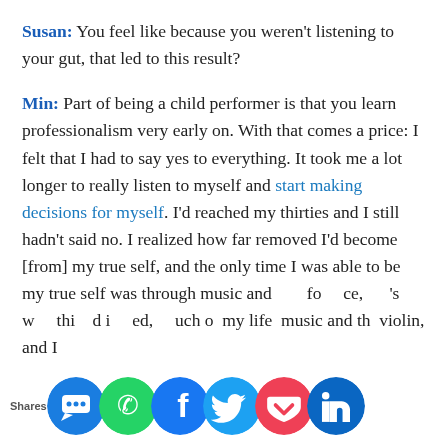Susan: You feel like because you weren't listening to your gut, that led to this result?
Min: Part of being a child performer is that you learn professionalism very early on. With that comes a price: I felt that I had to say yes to everything. It took me a lot longer to really listen to myself and start making decisions for myself. I'd reached my thirties and I still hadn't said no. I realized how far removed I'd become [from] my true self, and the only time I was able to be my true self was through music and [performance]. It's within this [period] I reached much of my life in music and the violin, and I
[Figure (infographic): Social share bar with icons: SMS/chat (blue circle), WhatsApp (green circle), Facebook (blue circle), Twitter (cyan circle), Pocket (red circle), LinkedIn (blue circle). 'Shares' label on left.]